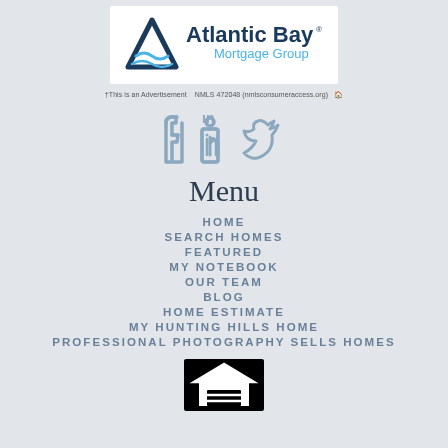[Figure (logo): Atlantic Bay Mortgage Group logo with blue triangle/wave mark and text]
†This is an Advertisement   NMLS 472048 (nmlsconsumeraccess.org)
[Figure (illustration): Social media icons: Facebook, LinkedIn, Twitter]
Menu
HOME
SEARCH HOMES
FEATURED
MY NOTEBOOK
OUR TEAM
BLOG
HOME ESTIMATE
MY HUNTING HILLS HOME
PROFESSIONAL PHOTOGRAPHY SELLS HOMES
[Figure (logo): Equal Housing Opportunity logo - black background with white house icon]